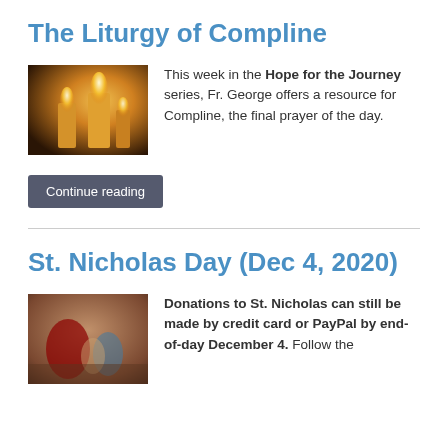The Liturgy of Compline
[Figure (photo): Photo of lit candles with warm orange glow against dark background]
This week in the Hope for the Journey series, Fr. George offers a resource for Compline, the final prayer of the day.
Continue reading
St. Nicholas Day (Dec 4, 2020)
[Figure (photo): Photo of St. Nicholas in costume with children in a church setting]
Donations to St. Nicholas can still be made by credit card or PayPal by end-of-day December 4. Follow the